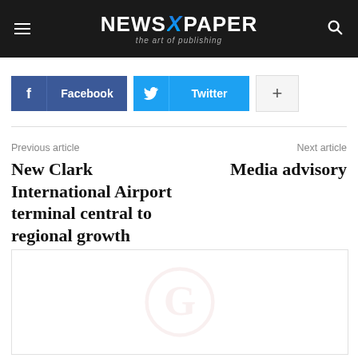NEWS X PAPER — the art of publishing
Facebook  Twitter  +
Previous article
New Clark International Airport terminal central to regional growth
Next article
Media advisory
[Figure (logo): Watermark placeholder image with a large stylized G letter in a circle, faint pink/red color]